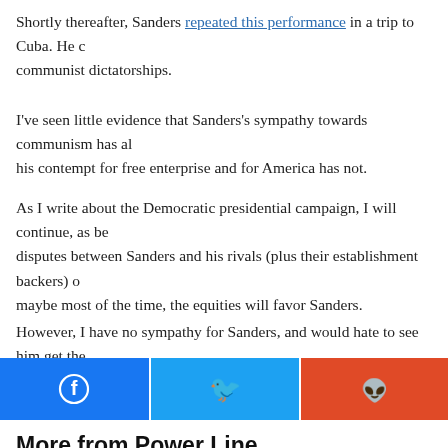Shortly thereafter, Sanders repeated this performance in a trip to Cuba. He c... communist dictatorships.
I've seen little evidence that Sanders's sympathy towards communism has al... his contempt for free enterprise and for America has not.
As I write about the Democratic presidential campaign, I will continue, as be... disputes between Sanders and his rivals (plus their establishment backers) o... maybe most of the time, the equities will favor Sanders.
However, I have no sympathy for Sanders, and would hate to see him get the...
[Figure (infographic): Social share buttons: Facebook (blue), Twitter (light blue), Reddit (orange-red)]
More from Power Line
HOW TANTALIZING CAN YOU GET?
GOODBYE IS TOO GOOD A WORD
THOUGHTS FROM THE AMMO LINE